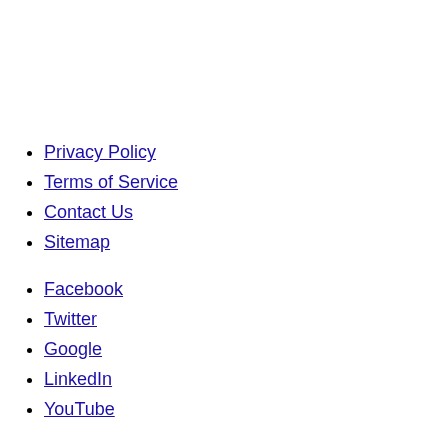Privacy Policy
Terms of Service
Contact Us
Sitemap
Facebook
Twitter
Google
LinkedIn
YouTube